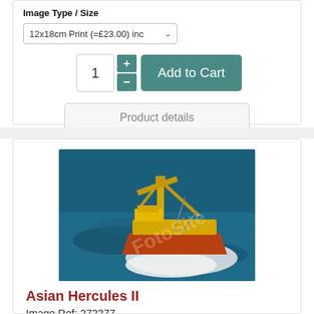Image Type / Size
12x18cm Print (=£23.00) inc
1
Add to Cart
Product details
[Figure (photo): Aerial view of a yellow crane ship (Asian Hercules II) at sea with white wake and blue water, watermarked with FotoSite]
Asian Hercules II
Image Ref: 272277